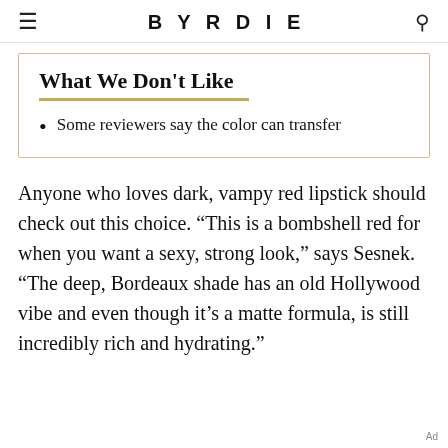BYRDIE
What We Don't Like
Some reviewers say the color can transfer
Anyone who loves dark, vampy red lipstick should check out this choice. “This is a bombshell red for when you want a sexy, strong look,” says Sesnek. “The deep, Bordeaux shade has an old Hollywood vibe and even though it’s a matte formula, is still incredibly rich and hydrating.”